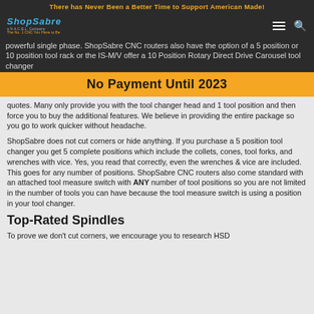There has Never Been a Better Time to Support American Made!
[Figure (logo): ShopSabre logo with tagline 'a N.A.C.E.L. Company' and 'The No. 1 CNC You Have to Be']
powerful single phase. ShopSabre CNC routers also have the option of a 5 position or 10 position tool rack or the IS-M/V offer a 10 Position Rotary Direct Drive Carousel tool changer
No Payment Until 2023
quotes. Many only provide you with the tool changer head and 1 tool position and then force you to buy the additional features. We believe in providing the entire package so you go to work quicker without headache.
ShopSabre does not cut corners or hide anything. If you purchase a 5 position tool changer you get 5 complete positions which include the collets, cones, tool forks, and wrenches with vice. Yes, you read that correctly, even the wrenches & vice are included. This goes for any number of positions. ShopSabre CNC routers also come standard with an attached tool measure switch with ANY number of tool positions so you are not limited in the number of tools you can have because the tool measure switch is using a position in your tool changer.
Top-Rated Spindles
To prove we don't cut corners, we encourage you to research HSD